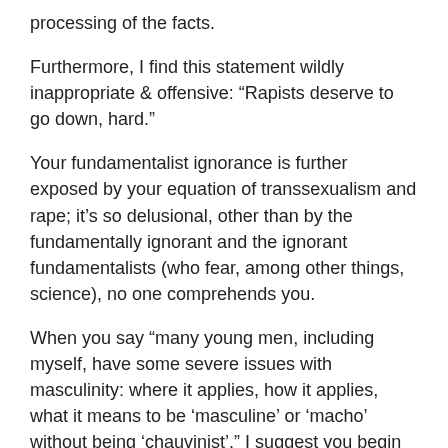processing of the facts.
Furthermore, I find this statement wildly inappropriate & offensive: “Rapists deserve to go down, hard.”
Your fundamentalist ignorance is further exposed by your equation of transsexualism and rape; it’s so delusional, other than by the fundamentally ignorant and the ignorant fundamentalists (who fear, among other things, science), no one comprehends you.
When you say “many young men, including myself, have some severe issues with masculinity: where it applies, how it applies, what it means to be ‘masculine’ or ‘macho’ without being ‘chauvinist’,” I suggest you begin by educating yourself. True men are educated, aware, caring humans who neither opt to remain ignorant nor argue in the face of facts; neither do they rape, attack, assault or harm others — nor do they blame the victims of such